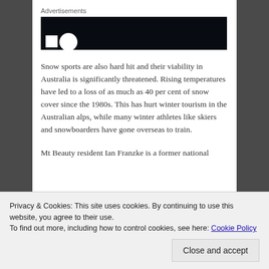Advertisements
[Figure (other): Advertisement banner with dark/black background and partial white logo shapes]
Snow sports are also hard hit and their viability in Australia is significantly threatened. Rising temperatures have led to a loss of as much as 40 per cent of snow cover since the 1980s. This has hurt winter tourism in the Australian alps, while many winter athletes like skiers and snowboarders have gone overseas to train.
Mt Beauty resident Ian Franzke is a former national
Privacy & Cookies: This site uses cookies. By continuing to use this website, you agree to their use.
To find out more, including how to control cookies, see here: Cookie Policy
later and finishing earlier,  he said.  It doesn't need
Close and accept